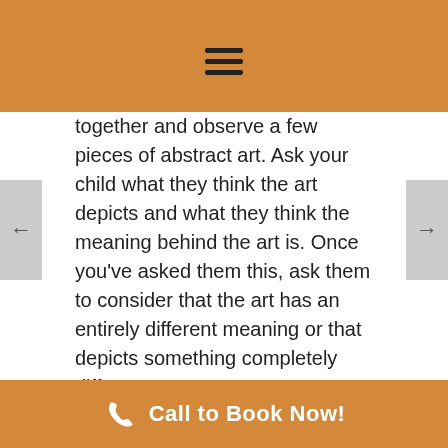together and observe a few pieces of abstract art. Ask your child what they think the art depicts and what they think the meaning behind the art is. Once you've asked them this, ask them to consider that the art has an entirely different meaning or that depicts something completely different.
Encourage them to think about the same piece of artwork in multiple different ways.
Foster a love of books
Reading is a great way to boost the imagination and develop a sense of wonder. Children's books are
Call to Book Now!